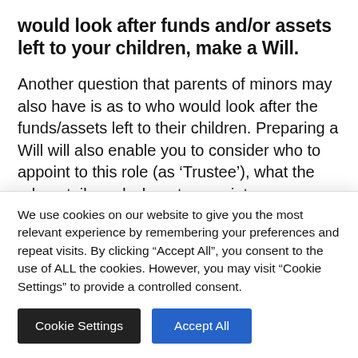would look after funds and/or assets left to your children, make a Will.
Another question that parents of minors may also have is as to who would look after the funds/assets left to their children. Preparing a Will will also enable you to consider who to appoint to this role (as ‘Trustee’), what the role entails and whom to appoint as substitutes if
We use cookies on our website to give you the most relevant experience by remembering your preferences and repeat visits. By clicking “Accept All”, you consent to the use of ALL the cookies. However, you may visit “Cookie Settings” to provide a controlled consent.